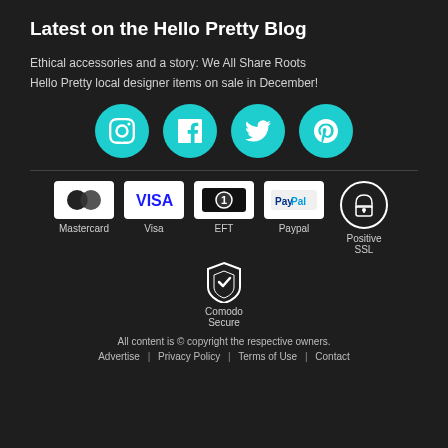Latest on the Hello Pretty Blog
Ethical accessories and a story: We All Share Roots
Hello Pretty local designer items on sale in December!
[Figure (infographic): Four social media icons (Instagram, Facebook, Twitter, Pinterest) as white icons inside teal circles]
[Figure (infographic): Payment method icons: Mastercard, Visa, EFT, Paypal, Positive SSL, Comodo Secure]
All content is © copyright the respective owners.
Advertise | Privacy Policy | Terms of Use | Contact